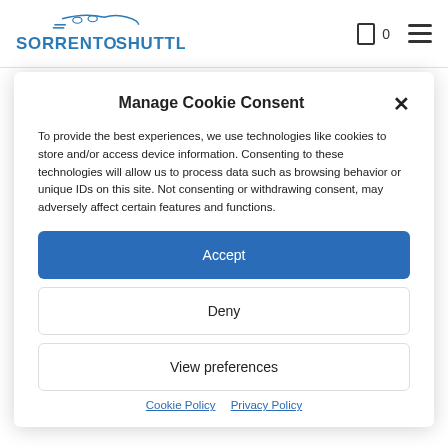[Figure (logo): SorrentoShuttle logo with stylized car graphic above the text in blue]
Manage Cookie Consent
To provide the best experiences, we use technologies like cookies to store and/or access device information. Consenting to these technologies will allow us to process data such as browsing behavior or unique IDs on this site. Not consenting or withdrawing consent, may adversely affect certain features and functions.
Accept
Deny
View preferences
Cookie Policy  Privacy Policy